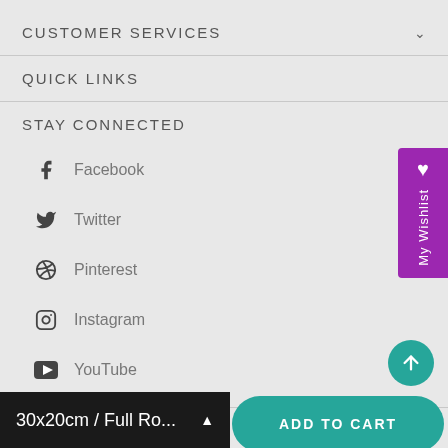CUSTOMER SERVICES
QUICK LINKS
STAY CONNECTED
Facebook
Twitter
Pinterest
Instagram
YouTube
NEWSLETTER
My Wishlist
30x20cm / Full Ro...
ADD TO CART